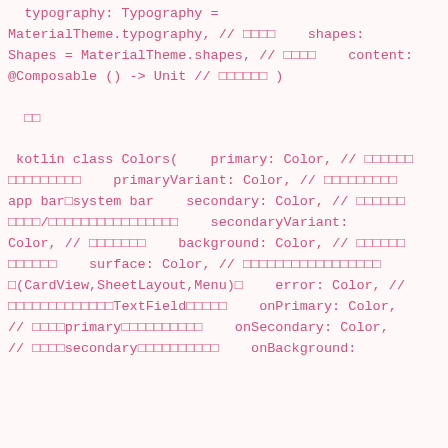typography: Typography = MaterialTheme.typography, // 타입 shapes: Shapes = MaterialTheme.shapes, // 모양 content: @Composable () -> Unit // 내용 )

결론

kotlin class Colors(    primary: Color, // 기본색상 기본색상기본색상    primaryVariant: Color, // 기본색상변형 app bar/system bar    secondary: Color, // 보조색상 보조색상/보조색상보조색상보조색상보조색상    secondaryVariant: Color, // 보조색상변형    background: Color, // 배경색상 배경색상    surface: Color, // 카드뷰시트레이아웃메뉴(CardView,SheetLayout,Menu) 카드    error: Color, // 오류색상오류색상TextField오류색상    onPrimary: Color, // 기본primary색상위텍스트아이콘    onSecondary: Color, // 기본secondary색상위텍스트아이콘    onBackground: